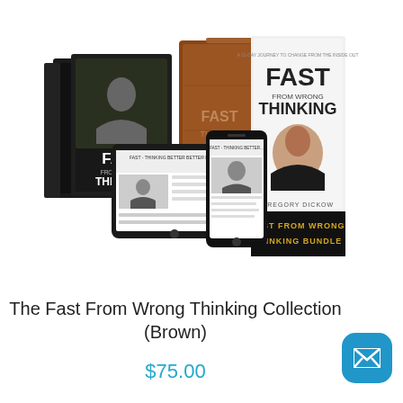[Figure (photo): Product bundle photo showing Fast From Wrong Thinking Collection: black DVD/course boxes with 'FAST FROM WRONG THINKING' text, a brown leather journal with 'FAST THINKING' embossed, a white book titled 'FAST FROM WRONG THINKING' by Gregory Dickow, a tablet and smartphone showing digital content, and a dark banner reading 'FAST FROM WRONG THINKING BUNDLE'.]
The Fast From Wrong Thinking Collection (Brown)
$75.00